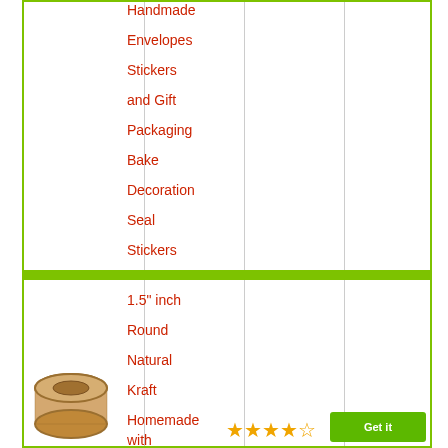Handmade
Envelopes
Stickers
and Gift
Packaging
Bake
Decoration
Seal
Stickers
[Figure (photo): Roll of natural kraft brown sticker labels]
1.5" inch Round Natural Kraft Homemade with
[Figure (other): Star rating icons (approximately 4 stars)]